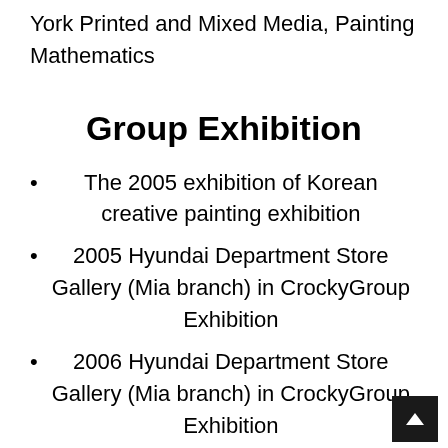The Art Students League of New York Printed and Mixed Media, Painting Mathematics
Group Exhibition
The 2005 exhibition of Korean creative painting exhibition
2005 Hyundai Department Store Gallery (Mia branch) in CrockyGroup Exhibition
2006 Hyundai Department Store Gallery (Mia branch) in CrockyGroup Exhibition
2006 International CheonggyeDong